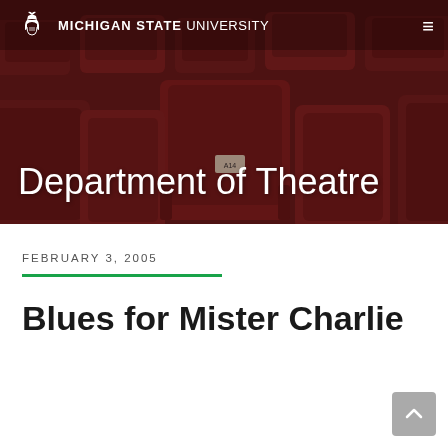[Figure (photo): Hero banner with red theater seats in background, dark overlay]
MICHIGAN STATE UNIVERSITY Department of Theatre
Department of Theatre
FEBRUARY 3, 2005
Blues for Mister Charlie